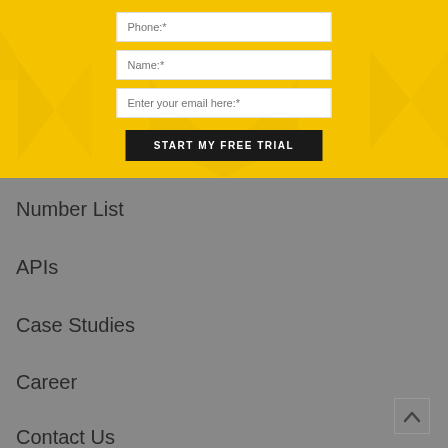[Figure (screenshot): Yellow background with decorative triangle/chevron watermarks and a sign-up form containing Phone, Name, Email fields and a 'START MY FREE TRIAL' button]
Number List
APIs
Case Studies
Career
Contact Us